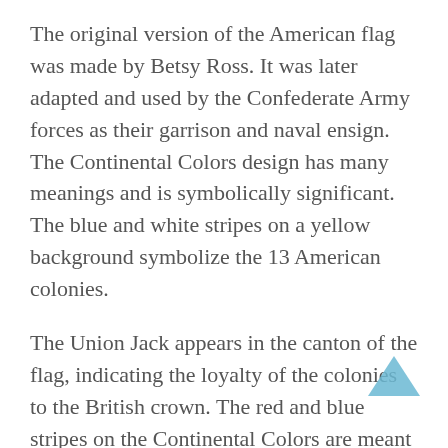The original version of the American flag was made by Betsy Ross. It was later adapted and used by the Confederate Army forces as their garrison and naval ensign. The Continental Colors design has many meanings and is symbolically significant. The blue and white stripes on a yellow background symbolize the 13 American colonies.
The Union Jack appears in the canton of the flag, indicating the loyalty of the colonies to the British crown. The red and blue stripes on the Continental Colors are meant to represent the thirteen colonies' desire to break away from the United Kingdom. While the colors are different, the stars are the same.
The Continental Colors flag was never officially sanctioned by the Continental Congress, but it was used by militia units in the United States until mid-1777. It is a simple design, but it represents the entire nation